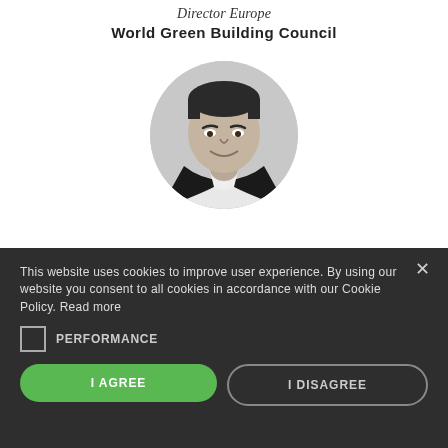Director Europe
World Green Building Council
[Figure (photo): Black and white circular portrait photo of a smiling man in a dark jacket]
This website uses cookies to improve user experience. By using our website you consent to all cookies in accordance with our Cookie Policy. Read more
PERFORMANCE
I AGREE
I DISAGREE